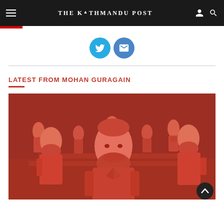THE KATHMANDU POST
[Figure (screenshot): Social media sharing icons: Twitter (blue circle) and Email (blue circle)]
LATEST FROM MOHAN GURAGAIN
[Figure (photo): Multiple orange/red figurines or statues of Karl Marx arranged in a crowd, photographed close up]